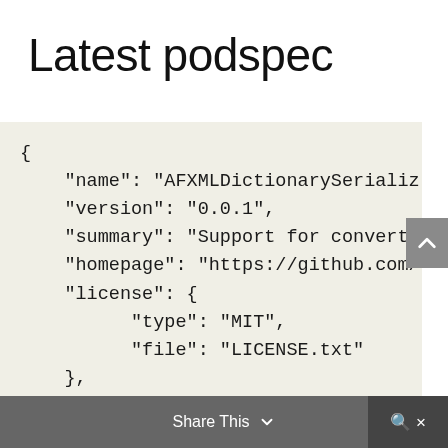Latest podspec
{
    "name": "AFXMLDictionarySerialize
    "version": "0.0.1",
    "summary": "Support for convertin
    "homepage": "https://github.com/
    "license": {
          "type": "MIT",
          "file": "LICENSE.txt"
    },
    "authors": {
          "ideaismobile": "thiago.pere
    },